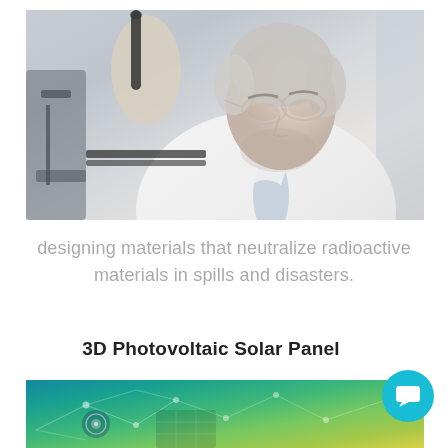[Figure (photo): A male scientist or researcher wearing a white lab coat, safety glasses, and gloves, using a pipette in a laboratory setting. The image is in a light, slightly desaturated color tone.]
designing materials that neutralize radioactive materials in spills and disasters.
3D Photovoltaic Solar Panel
[Figure (photo): A technology-themed image with a blue-green to yellow gradient showing a network of connected dots and lines, suggesting a solar panel or technology grid concept.]